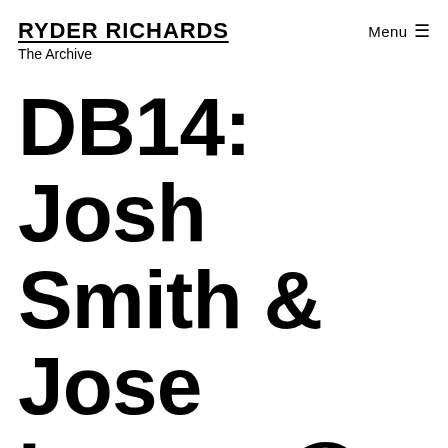RYDER RICHARDS
The Archive
Menu ≡
DB14: Josh Smith & Jose Lerma @ Oliver Francis Ga…